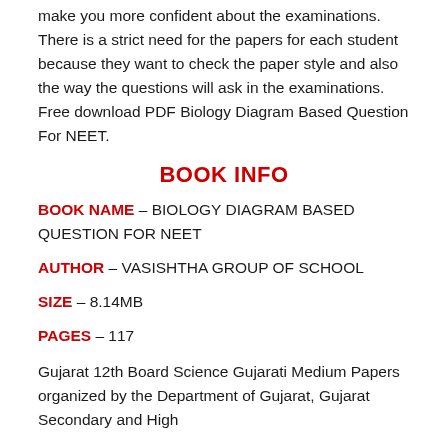make you more confident about the examinations. There is a strict need for the papers for each student because they want to check the paper style and also the way the questions will ask in the examinations. Free download PDF Biology Diagram Based Question For NEET.
BOOK INFO
BOOK NAME – BIOLOGY DIAGRAM BASED QUESTION FOR NEET
AUTHOR – VASISHTHA GROUP OF SCHOOL
SIZE – 8.14MB
PAGES – 117
Gujarat 12th Board Science Gujarati Medium Papers organized by the Department of Gujarat, Gujarat Secondary and High